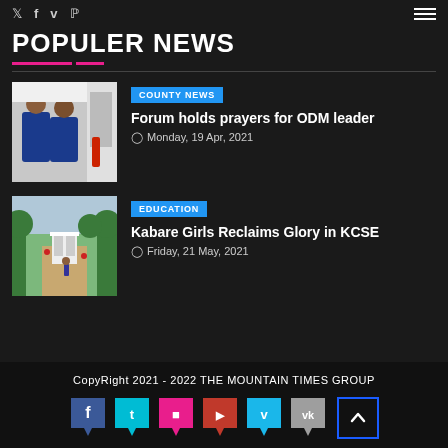Social icons: Twitter, Facebook, Vine, Pinterest | Hamburger menu
POPULER NEWS
Forum holds prayers for ODM leader
Monday, 19 Apr, 2021
Kabare Girls Reclaims Glory in KCSE
Friday, 21 May, 2021
CopyRight 2021 - 2022 THE MOUNTAIN TIMES GROUP